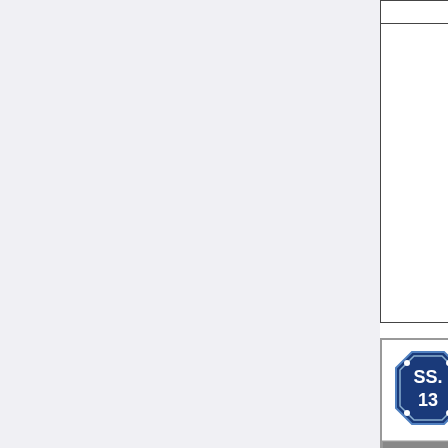| Storage |  | Vir... |
| --- | --- | --- |
|  |  |  |
[Figure (logo): SS13 badge logo - blue octagonal badge with SS. 13 text]
Locations on Meta Station
| General | Recreational | Medi... |
| --- | --- | --- |
| Arrivals
Art Storage
Auxiliary Tool Storage
Emergency Storage
Escape | Bar
Chapel
Dormitory
Holodeck
Hydroponics
Kitchen and Freezer
Library | Med...
Che... Lab
Chie... Med... Offic... Offic...
Gen... |